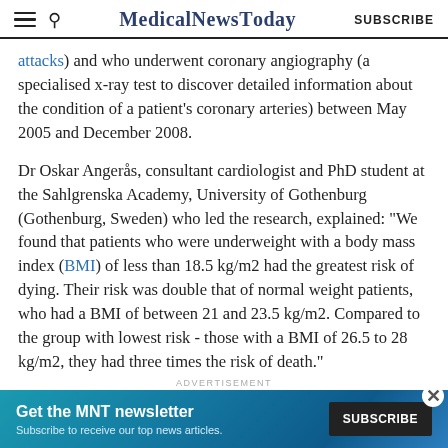MedicalNewsToday SUBSCRIBE
attacks) and who underwent coronary angiography (a specialised x-ray test to discover detailed information about the condition of a patient's coronary arteries) between May 2005 and December 2008.
Dr Oskar Angerås, consultant cardiologist and PhD student at the Sahlgrenska Academy, University of Gothenburg (Gothenburg, Sweden) who led the research, explained: "We found that patients who were underweight with a body mass index (BMI) of less than 18.5 kg/m2 had the greatest risk of dying. Their risk was double that of normal weight patients, who had a BMI of between 21 and 23.5 kg/m2. Compared to the group with lowest risk - those with a BMI of 26.5 to 28 kg/m2, they had three times the risk of death."
The researchers found that the relation between BMI
[Figure (other): Advertisement banner: Get the MNT newsletter - Subscribe to receive our top news articles. SUBSCRIBE button. Close (X) button.]